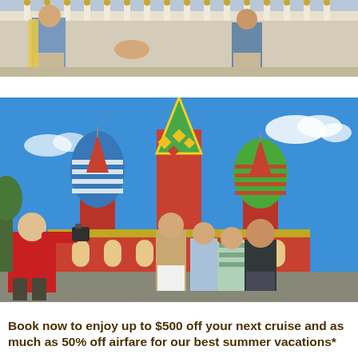[Figure (photo): Two people shaking hands in front of a classical European building with ornate white balustrade and golden decorations. One person is wearing a yellow sash/garment.]
[Figure (photo): A group of tourists posing for a photo in front of St. Basil's Cathedral in Moscow, Russia. A man in a red jacket is photographing three adults. The cathedral's colorful onion domes are prominent against a bright blue sky.]
Book now to enjoy up to $500 off your next cruise and as much as 50% off airfare for our best summer vacations*